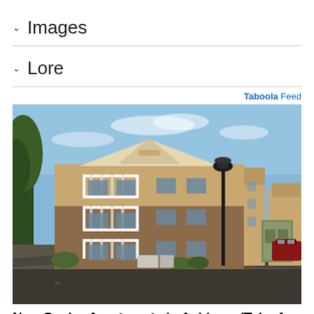Images
Lore
Taboola Feed
[Figure (photo): Exterior photo of a multi-story senior apartment complex with brick and siding facade, balconies with white railings, a lamp post in the foreground, trees and parked cars visible.]
New Senior Apartments in Ashburn (Take A